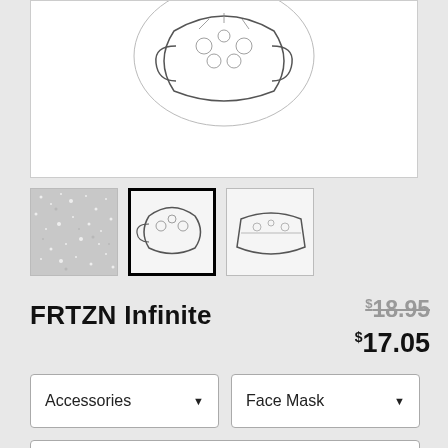[Figure (photo): Main product image showing a face mask with floral/skull sketch pattern on white background]
[Figure (photo): Thumbnail 1: glitter texture close-up]
[Figure (photo): Thumbnail 2 (selected): face mask with sketch pattern, side view]
[Figure (photo): Thumbnail 3: face mask with sketch pattern, front view]
FRTZN Infinite
$18.95 (strikethrough) $17.05
Accessories ▼
Face Mask ▼
Premium ▼